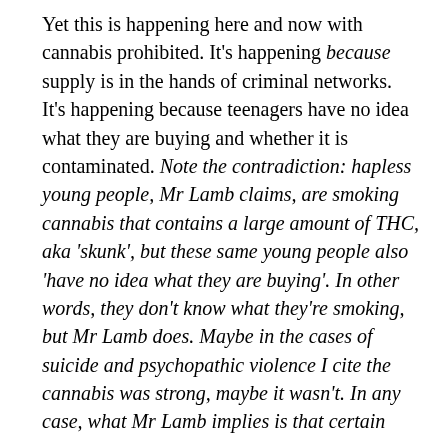Yet this is happening here and now with cannabis prohibited. It's happening because supply is in the hands of criminal networks. It's happening because teenagers have no idea what they are buying and whether it is contaminated. Note the contradiction: hapless young people, Mr Lamb claims, are smoking cannabis that contains a large amount of THC, aka 'skunk', but these same young people also 'have no idea what they are buying'. In other words, they don't know what they're smoking, but Mr Lamb does. Maybe in the cases of suicide and psychopathic violence I cite the cannabis was strong, maybe it wasn't. In any case, what Mr Lamb implies is that certain